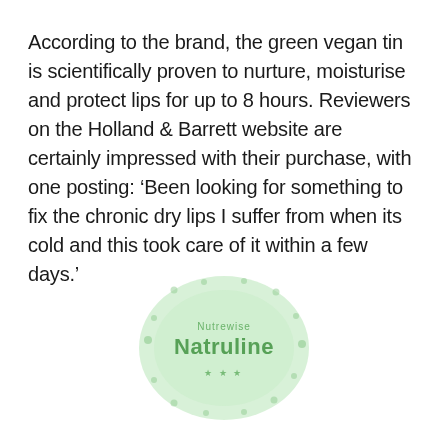According to the brand, the green vegan tin is scientifically proven to nurture, moisturise and protect lips for up to 8 hours. Reviewers on the Holland & Barrett website are certainly impressed with their purchase, with one posting: ‘Been looking for something to fix the chronic dry lips I suffer from when its cold and this took care of it within a few days.’
[Figure (logo): Natruline / Nutrewise watermark logo in light green, circular badge shape with decorative dots]